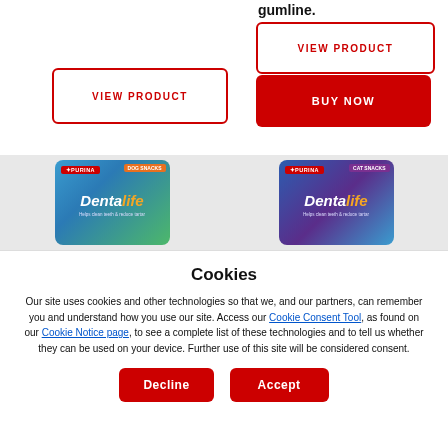gumline.
[Figure (other): VIEW PRODUCT button (outlined red, right column)]
[Figure (other): VIEW PRODUCT button (outlined red, left column) and BUY NOW button (solid red, right column)]
[Figure (photo): Two Purina DentaLife product packages side by side on a grey background strip]
Cookies
Our site uses cookies and other technologies so that we, and our partners, can remember you and understand how you use our site. Access our Cookie Consent Tool, as found on our Cookie Notice page, to see a complete list of these technologies and to tell us whether they can be used on your device. Further use of this site will be considered consent.
[Figure (other): Decline button (solid red)]
[Figure (other): Accept button (solid red)]